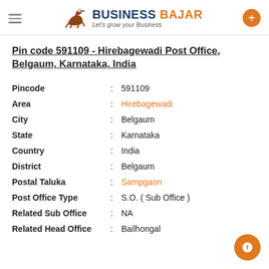Business Bajar – Let's grow your Business
Pin code 591109 - Hirebagewadi Post Office, Belgaum, Karnataka, India
| Field | Value |
| --- | --- |
| Pincode | 591109 |
| Area | Hirebagewadi |
| City | Belgaum |
| State | Karnataka |
| Country | India |
| District | Belgaum |
| Postal Taluka | Sampgaon |
| Post Office Type | S.O. ( Sub Office ) |
| Related Sub Office | NA |
| Related Head Office | Bailhongal |